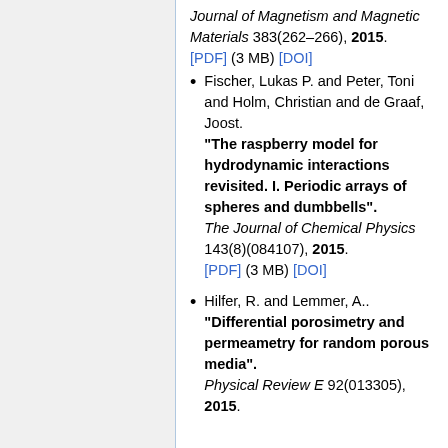Journal of Magnetism and Magnetic Materials 383(262–266), 2015. [PDF] (3 MB) [DOI]
Fischer, Lukas P. and Peter, Toni and Holm, Christian and de Graaf, Joost. "The raspberry model for hydrodynamic interactions revisited. I. Periodic arrays of spheres and dumbbells". The Journal of Chemical Physics 143(8)(084107), 2015. [PDF] (3 MB) [DOI]
Hilfer, R. and Lemmer, A.. "Differential porosimetry and permeametry for random porous media". Physical Review E 92(013305), 2015.